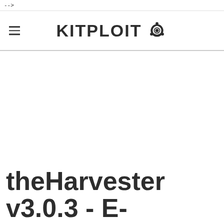-->
KITPLOIT ☣
theHarvester v3.0.3 - E-